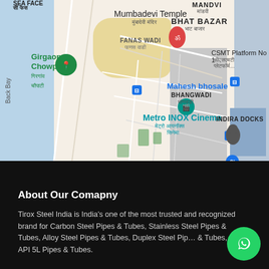[Figure (map): Google Maps screenshot showing area around Bhangwadi, Mumbai including Girgaon Chowpatty, Mumbadevi Temple, Bhat Bazar, CSMT, Metro INOX Cinema, Mahesh Bhosale location pin, Fanas Wadi, Indira Docks, and Back Bay.]
About Our Comapny
Tirox Steel India is India's one of the most trusted and recognized brand for Carbon Steel Pipes & Tubes, Stainless Steel Pipes & Tubes, Alloy Steel Pipes & Tubes, Duplex Steel Pipes & Tubes, API 5L Pipes & Tubes.